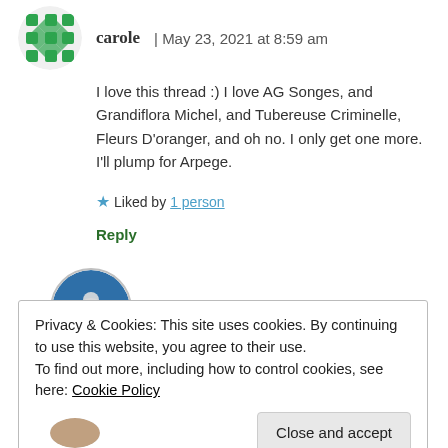[Figure (illustration): Green geometric pattern avatar for user carole]
carole | May 23, 2021 at 8:59 am
I love this thread :) I love AG Songes, and Grandiflora Michel, and Tubereuse Criminelle, Fleurs D'oranger, and oh no. I only get one more. I'll plump for Arpege.
★ Liked by 1 person
Reply
[Figure (illustration): Blue circular avatar with hand/flower motif for user Undina]
Undina | May 23, 2021 at 10:28 am
Grandiflora Michelle! Of course! Such a beautiful
Privacy & Cookies: This site uses cookies. By continuing to use this website, you agree to their use.
To find out more, including how to control cookies, see here: Cookie Policy
Close and accept